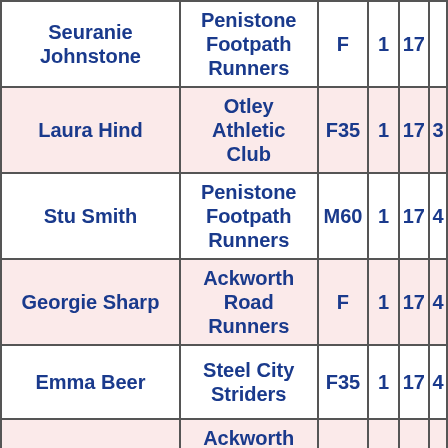| Name | Club | Category |  |  |  |
| --- | --- | --- | --- | --- | --- |
| Seuranie Johnstone | Penistone Footpath Runners | F | 1 | 17 |  |
| Laura Hind | Otley Athletic Club | F35 | 1 | 17 | 3 |
| Stu Smith | Penistone Footpath Runners | M60 | 1 | 17 | 4 |
| Georgie Sharp | Ackworth Road Runners | F | 1 | 17 | 4 |
| Emma Beer | Steel City Striders | F35 | 1 | 17 | 4 |
| Stephen Wong | Ackworth Road Runners | M | 1 | 17 | 4 |